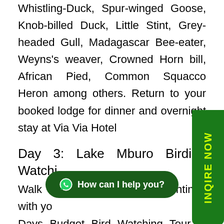Whistling-Duck, Spur-winged Goose, Knob-billed Duck, Little Stint, Grey-headed Gull, Madagascar Bee-eater, Weyns's weaver, Crowned Horn bill, African Pied, Common Squacco Heron among others. Return to your booked lodge for dinner and overnight stay at Via Via Hotel
Day 3: Lake Mburo Birding Watching
Walk up in the morning to continue with your Days Budget Bird Watching Tour in Uganda with a drive to lake Mburo national park. You have a stopover at the Equator for water experience and photos and continued with your journey to the western region, arriving
[Figure (other): Green vertical sidebar button with yellow text reading INQIRE NOW]
[Figure (other): Dark green rounded chat button with WhatsApp icon and text 'How can I help you?']